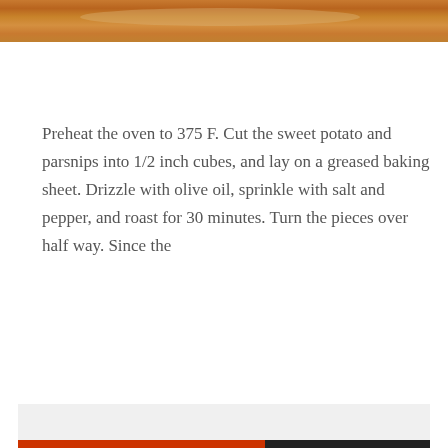[Figure (photo): Top portion of a food photo showing a wooden cutting board surface with warm orange-brown tones, cropped at the top edge of the page.]
Preheat the oven to 375 F. Cut the sweet potato and parsnips into 1/2 inch cubes, and lay on a greased baking sheet. Drizzle with olive oil, sprinkle with salt and pepper, and roast for 30 minutes. Turn the pieces over half way. Since the
Privacy & Cookies: This site uses cookies. By continuing to use this website, you agree to their use.
To find out more, including how to control cookies, see here: Cookie Policy
Close and accept